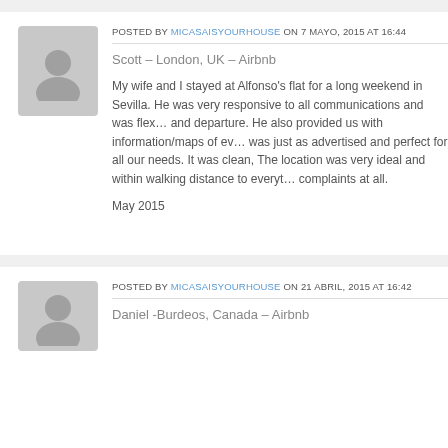POSTED BY MICASAISYOURHOUSE ON 7 MAYO, 2015 AT 16:44
Scott – London, UK – Airbnb
My wife and I stayed at Alfonso's flat for a long weekend in Sevilla. He was very responsive to all communications and was flexible with our arrival and departure. He also provided us with information/maps of everything. The flat was just as advertised and perfect for all our needs. It was clean, well equipped. The location was very ideal and within walking distance to everything. We had no complaints at all.
May 2015
POSTED BY MICASAISYOURHOUSE ON 21 ABRIL, 2015 AT 16:42
Daniel -Burdeos, Canada – Airbnb